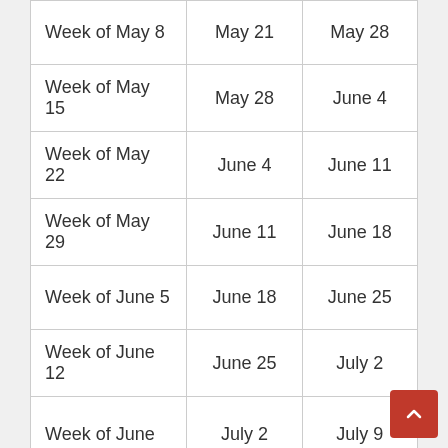| Week of May 8 | May 21 | May 28 |
| Week of May 15 | May 28 | June 4 |
| Week of May 22 | June 4 | June 11 |
| Week of May 29 | June 11 | June 18 |
| Week of June 5 | June 18 | June 25 |
| Week of June 12 | June 25 | July 2 |
| Week of June [19] | July 2 | July 9 |